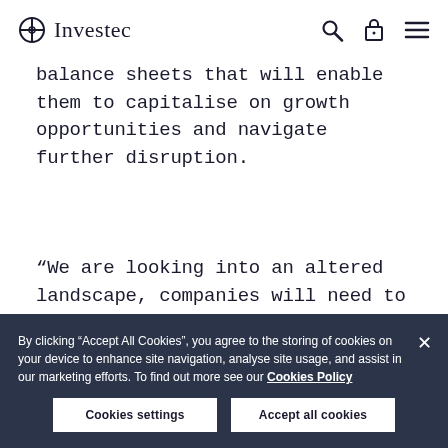Investec
balance sheets that will enable them to capitalise on growth opportunities and navigate further disruption.
“We are looking into an altered landscape, companies will need to demonstrate their business models have evolved and adapted.”
By clicking “Accept All Cookies”, you agree to the storing of cookies on your device to enhance site navigation, analyse site usage, and assist in our marketing efforts. To find out more see our Cookies Policy
Cookies settings
Accept all cookies